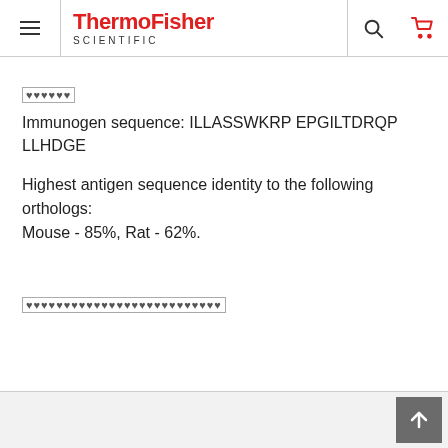ThermoFisher SCIENTIFIC
Immunogen sequence: ILLASSWKRP EPGILTDRQP LLHDGE
Highest antigen sequence identity to the following orthologs: Mouse - 85%, Rat - 62%.